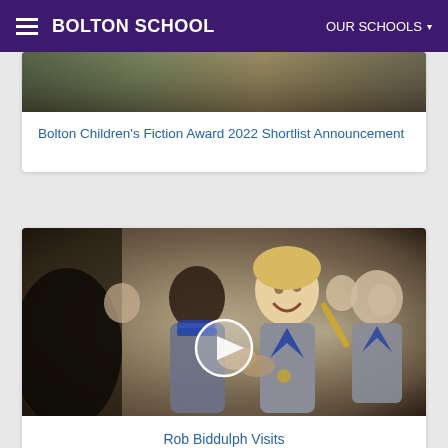BOLTON SCHOOL | OUR SCHOOLS
[Figure (photo): Partial top image of previous card (cropped)]
Bolton Children's Fiction Award 2022 Shortlist Announcement
[Figure (photo): Photo of smiling school children in grey and blue uniforms in a classroom, with a video play button overlay]
Rob Biddulph Visits